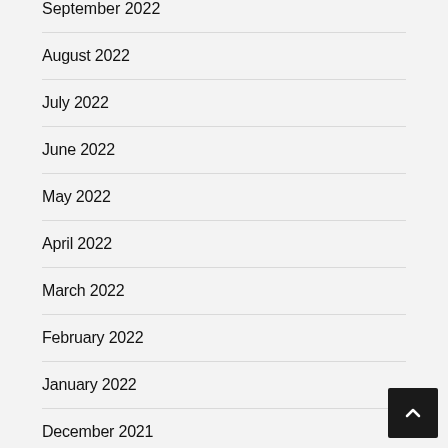September 2022
August 2022
July 2022
June 2022
May 2022
April 2022
March 2022
February 2022
January 2022
December 2021